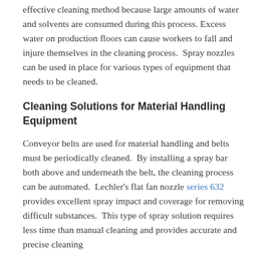effective cleaning method because large amounts of water and solvents are consumed during this process. Excess water on production floors can cause workers to fall and injure themselves in the cleaning process. Spray nozzles can be used in place for various types of equipment that needs to be cleaned.
Cleaning Solutions for Material Handling Equipment
Conveyor belts are used for material handling and belts must be periodically cleaned.  By installing a spray bar both above and underneath the belt, the cleaning process can be automated.  Lechler's flat fan nozzle series 632 provides excellent spray impact and coverage for removing difficult substances.  This type of spray solution requires less time than manual cleaning and provides accurate and precise cleaning